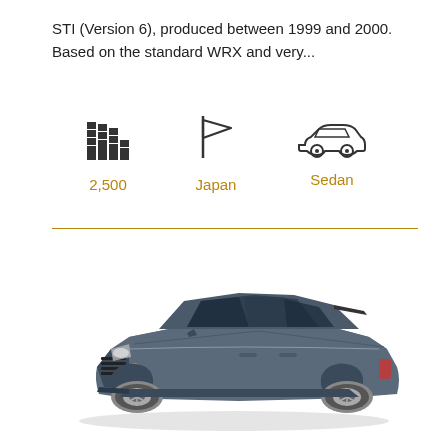STI (Version 6), produced between 1999 and 2000. Based on the standard WRX and very...
[Figure (infographic): Three icons in a row: stacked bars icon labeled '2,500', flag icon labeled 'Japan', sedan car outline icon labeled 'Sedan']
[Figure (photo): A dark gray/charcoal colored sports sedan car (Nissan Skyline GT-R R32) photographed on a white background, shot from a front three-quarter angle showing the front and driver's side.]